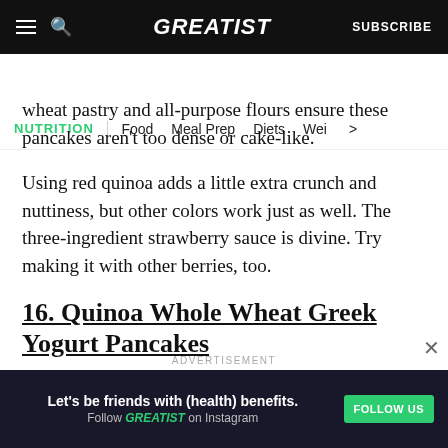GREATIST | SUBSCRIBE
NUTRITION | Food   Meal Prep   Diets   Wei >
wheat pastry and all-purpose flours ensure these pancakes aren't too dense or cake-like.
Using red quinoa adds a little extra crunch and nuttiness, but other colors work just as well. The three-ingredient strawberry sauce is divine. Try making it with other berries, too.
16. Quinoa Whole Wheat Greek Yogurt Pancakes
ADVERTISEMENT
Let's be friends with (health) benefits. Follow GREATIST on Instagram FOLLOW US